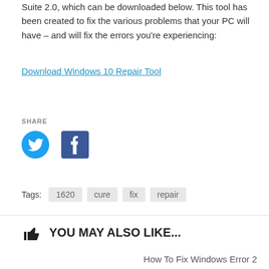Suite 2.0, which can be downloaded below. This tool has been created to fix the various problems that your PC will have – and will fix the errors you're experiencing:
Download Windows 10 Repair Tool
SHARE
[Figure (logo): Twitter bird logo in blue]
[Figure (logo): Facebook logo in dark blue square]
Tags:  1620  cure  fix  repair
YOU MAY ALSO LIKE...
How To Fix Windows Error 2